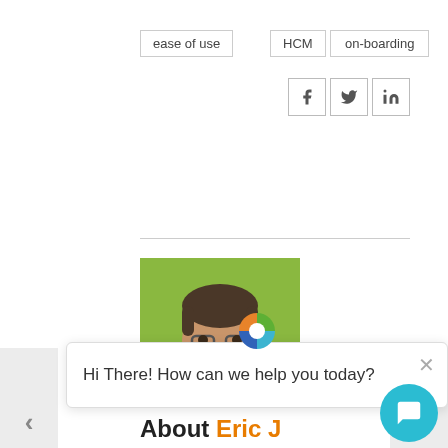ease of use
HCM
on-boarding
[Figure (infographic): Social media share icons: Facebook (f), Twitter (bird), LinkedIn (in)]
[Figure (photo): Headshot of a bearded man with glasses wearing a blue shirt against a green background]
About Eric J
Eric joined Workfo... focused on increa... clients around processing their payroll and time-sheets. Since the beginning Eric seeks to empower clients to give them the tools to manage their greatest asset; their people.
[Figure (infographic): Chat widget popup with logo and message: Hi There! How can we help you today?]